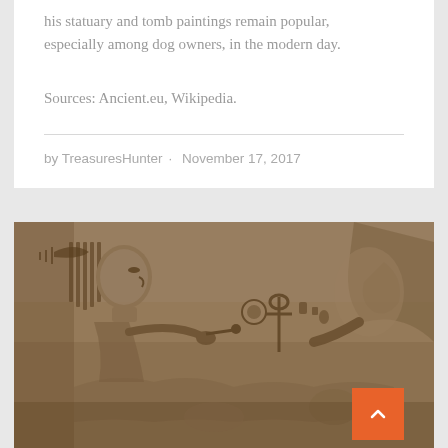his statuary and tomb paintings remain popular, especially among dog owners, in the modern day.
Sources: Ancient.eu, Wikipedia.
by TreasuresHunter · November 17, 2017
[Figure (photo): Close-up photograph of an ancient Egyptian stone relief carving showing hieroglyphic figures with detailed textures of carved stone in brownish-sepia tones. An orange scroll-to-top button with a chevron arrow is visible in the lower right corner.]